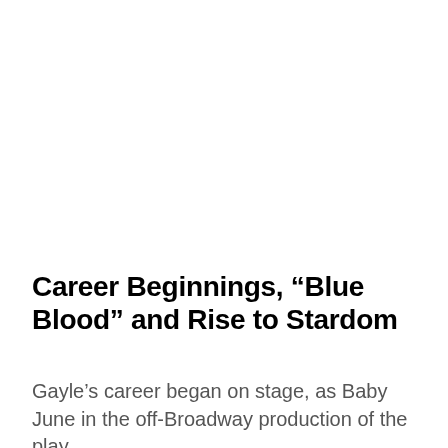Career Beginnings, “Blue Blood” and Rise to Stardom
Gayle’s career began on stage, as Baby June in the off-Broadway production of the play